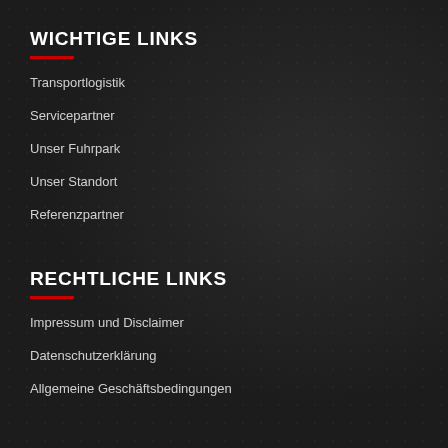WICHTIGE LINKS
Transportlogistik
Servicepartner
Unser Fuhrpark
Unser Standort
Referenzpartner
RECHTLICHE LINKS
Impressum und Disclaimer
Datenschutzerklärung
Allgemeine Geschäftsbedingungen